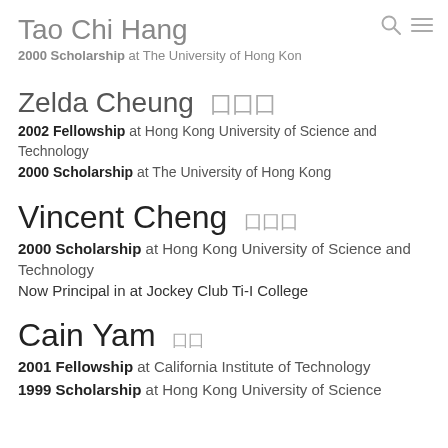Tao Chi Hang
2000 Scholarship at The University of Hong Kon
Zelda Cheung
2002 Fellowship at Hong Kong University of Science and Technology
2000 Scholarship at The University of Hong Kong
Vincent Cheng
2000 Scholarship at Hong Kong University of Science and Technology
Now Principal in at Jockey Club Ti-I College
Cain Yam
2001 Fellowship at California Institute of Technology
1999 Scholarship at Hong Kong University of Science